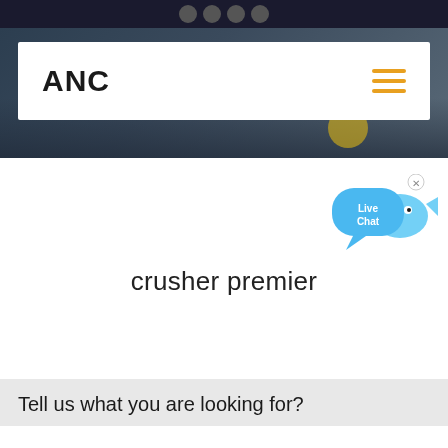ANC
[Figure (logo): ANC logo with hamburger menu icon in orange on white navigation bar over dark hero image]
[Figure (illustration): Live Chat bubble widget - blue speech bubble with fish shape and 'Live Chat' text with X close button]
crusher premier
Tell us what you are looking for?